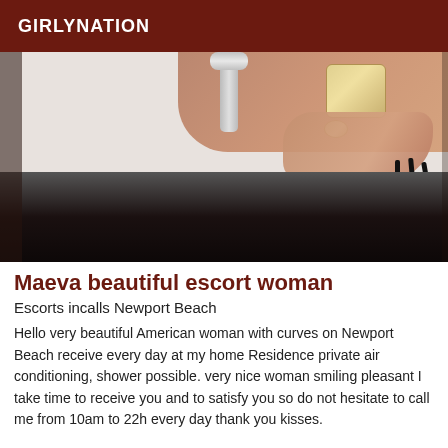GIRLYNATION
[Figure (photo): Photo of a woman's arm and hand with dark nail polish, a large ring, and a decorative bracelet resting on a white table surface, with a dark background below.]
Maeva beautiful escort woman
Escorts incalls Newport Beach
Hello very beautiful American woman with curves on Newport Beach receive every day at my home Residence private air conditioning, shower possible. very nice woman smiling pleasant I take time to receive you and to satisfy you so do not hesitate to call me from 10am to 22h every day thank you kisses.